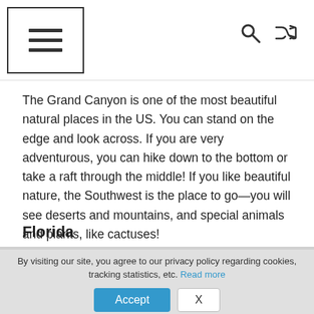[hamburger menu icon] [search icon] [shuffle icon]
The Grand Canyon is one of the most beautiful natural places in the US. You can stand on the edge and look across. If you are very adventurous, you can hike down to the bottom or take a raft through the middle! If you like beautiful nature, the Southwest is the place to go—you will see deserts and mountains, and special animals and plants, like cactuses!
Florida
By visiting our site, you agree to our privacy policy regarding cookies, tracking statistics, etc. Read more